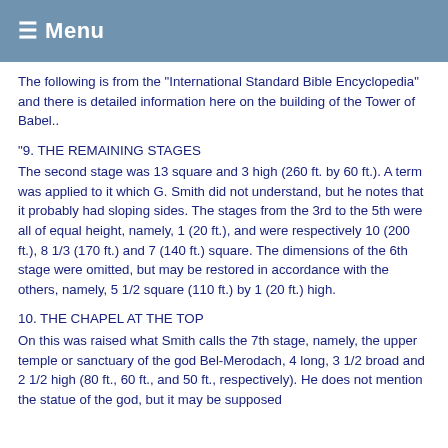☰ Menu
The following is from the "International Standard Bible Encyclopedia" and there is detailed information here on the building of the Tower of Babel..
"9. THE REMAINING STAGES
The second stage was 13 square and 3 high (260 ft. by 60 ft.). A term was applied to it which G. Smith did not understand, but he notes that it probably had sloping sides. The stages from the 3rd to the 5th were all of equal height, namely, 1 (20 ft.), and were respectively 10 (200 ft.), 8 1/3 (170 ft.) and 7 (140 ft.) square. The dimensions of the 6th stage were omitted, but may be restored in accordance with the others, namely, 5 1/2 square (110 ft.) by 1 (20 ft.) high.
10. THE CHAPEL AT THE TOP
On this was raised what Smith calls the 7th stage, namely, the upper temple or sanctuary of the god Bel-Merodach, 4 long, 3 1/2 broad and 2 1/2 high (80 ft., 60 ft., and 50 ft., respectively). He does not mention the statue of the god, but it may be supposed